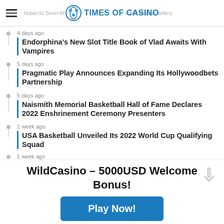Times of Casino — hutan to Soon H... nded Headquarters
4 days ago — Endorphina's New Slot Title Book of Vlad Awaits With Vampires
5 days ago — Pragmatic Play Announces Expanding Its Hollywoodbets Partnership
5 days ago — Naismith Memorial Basketball Hall of Fame Declares 2022 Enshrinement Ceremony Presenters
1 week ago — USA Basketball Unveiled Its 2022 World Cup Qualifying Squad
1 week ago
WildCasino – 5000USD Welcome Bonus!
Play Now!